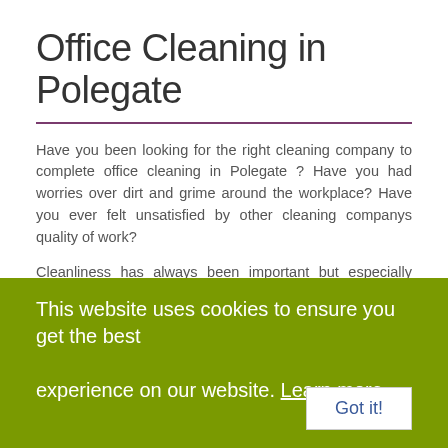Office Cleaning in Polegate
Have you been looking for the right cleaning company to complete office cleaning in Polegate ? Have you had worries over dirt and grime around the workplace? Have you ever felt unsatisfied by other cleaning companys quality of work?
Cleanliness has always been important but especially since the pandemic it has never been more crucial to aid and maintain a clean and healthy working office for staff. You can depend on Homes Maid to never be late and have the office cleaning in Polegate carried out at certain times to eradicate disturbance to your business and contact with your work team.
Homes Maid is always seeking techniques to better our services and
This website uses cookies to ensure you get the best experience on our website. Learn more
Got it!